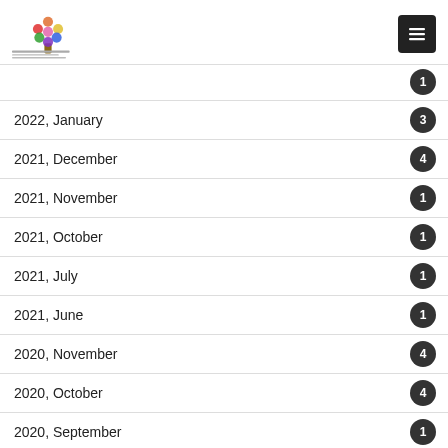Global For Social Response Fund
2022, January — 3
2021, December — 4
2021, November — 1
2021, October — 1
2021, July — 1
2021, June — 1
2020, November — 4
2020, October — 4
2020, September — 1
2020, July — 3
2020, June — 5
2020, April — 1
2020, January — 1
2019, December — 2
2019, November — ?